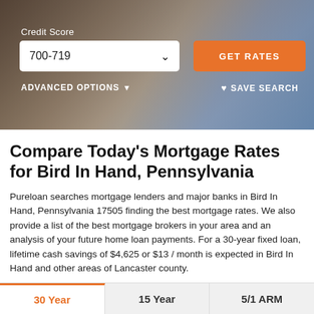[Figure (screenshot): Hero banner showing a person reviewing financial charts on a tablet, with a Credit Score dropdown showing 700-719, an orange GET RATES button, ADVANCED OPTIONS link, and SAVE SEARCH link.]
Compare Today's Mortgage Rates for Bird In Hand, Pennsylvania
Pureloan searches mortgage lenders and major banks in Bird In Hand, Pennsylvania 17505 finding the best mortgage rates. We also provide a list of the best mortgage brokers in your area and an analysis of your future home loan payments. For a 30-year fixed loan, lifetime cash savings of $4,625 or $13 / month is expected in Bird In Hand and other areas of Lancaster county.
Tabs: 30 Year (active), 15 Year, 5/1 ARM